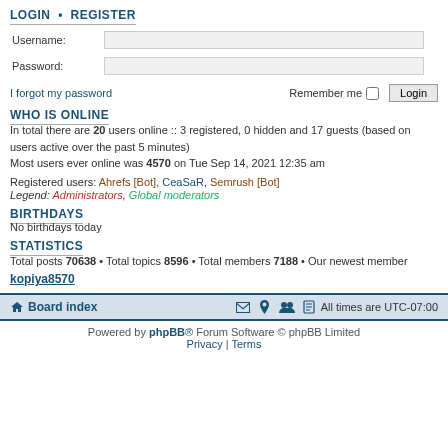LOGIN • REGISTER
Username: [input field]
Password: [input field]
I forgot my password    Remember me [checkbox] Login
WHO IS ONLINE
In total there are 20 users online :: 3 registered, 0 hidden and 17 guests (based on users active over the past 5 minutes)
Most users ever online was 4570 on Tue Sep 14, 2021 12:35 am
Registered users: Ahrefs [Bot], CeaSaR, Semrush [Bot]
Legend: Administrators, Global moderators
BIRTHDAYS
No birthdays today
STATISTICS
Total posts 70638 • Total topics 8596 • Total members 7188 • Our newest member kopiya8570
Board index    All times are UTC-07:00
Powered by phpBB® Forum Software © phpBB Limited
Privacy | Terms